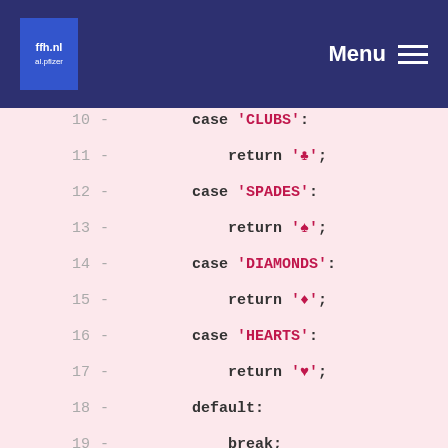ffh.nl Menu
[Figure (screenshot): Code snippet showing switch-case statements for card suits (CLUBS, SPADES, DIAMONDS, HEARTS) with return statements and default break, lines 10-21, displayed with pink/red background diff highlighting]